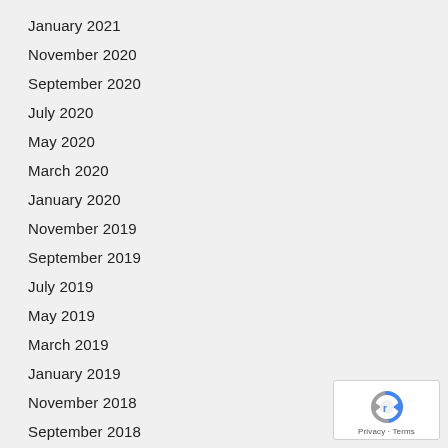January 2021
November 2020
September 2020
July 2020
May 2020
March 2020
January 2020
November 2019
September 2019
July 2019
May 2019
March 2019
January 2019
November 2018
September 2018
[Figure (logo): Google reCAPTCHA badge with recaptcha icon and Privacy/Terms text]